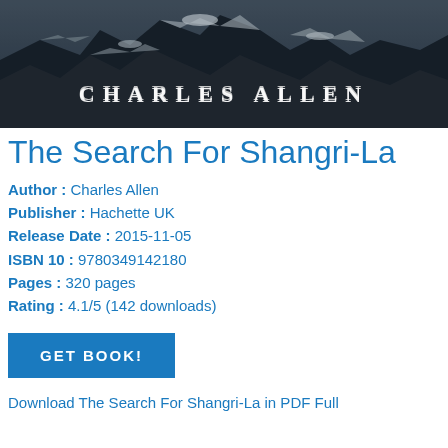[Figure (photo): Book cover image showing rocky/snowy mountain landscape in black and white with 'CHARLES ALLEN' text overlaid in white serif capitals across the lower portion]
The Search For Shangri-La
Author : Charles Allen
Publisher : Hachette UK
Release Date : 2015-11-05
ISBN 10 : 9780349142180
Pages : 320 pages
Rating : 4.1/5 (142 downloads)
GET BOOK!
Download The Search For Shangri-La in PDF Full